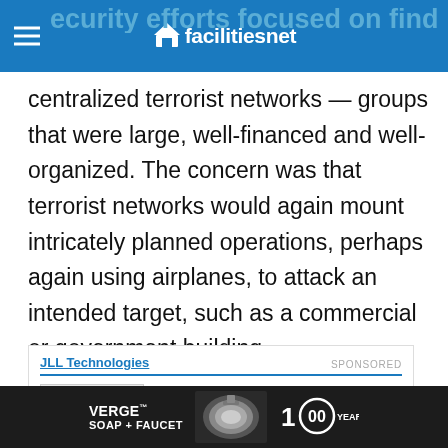facilitiesnet
ecurity efforts focused on finding and stopping centralized terrorist networks — groups that were large, well-financed and well-organized. The concern was that terrorist networks would again mount intricately planned operations, perhaps again using airplanes, to attack an intended target, such as a commercial or government building.
[Figure (infographic): JLL Technologies sponsored card with thumbnail image and title 'Technology Advances Are Changing the Facilities Management Role' and email address field]
[Figure (infographic): Bottom advertisement bar for VERGE Soap + Faucet by Bradley, 100 years]